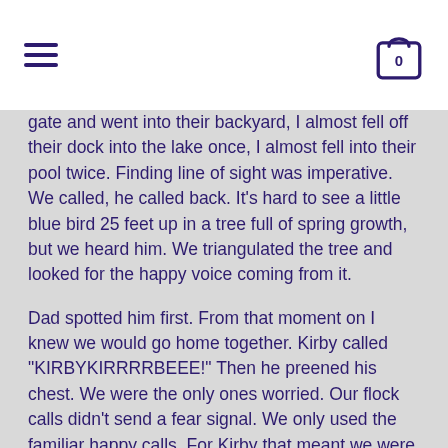≡  [cart icon] 0
gate and went into their backyard, I almost fell off their dock into the lake once, I almost fell into their pool twice. Finding line of sight was imperative. We called, he called back. It's hard to see a little blue bird 25 feet up in a tree full of spring growth, but we heard him. We triangulated the tree and looked for the happy voice coming from it.

Dad spotted him first. From that moment on I knew we would go home together. Kirby called "KIRBYKIRRRRBEEE!" Then he preened his chest. We were the only ones worried. Our flock calls didn't send a fear signal. We only used the familiar happy calls. For Kirby that meant we were there, we were looking for him and we were near.
By the time we literally put eyes on him he had been in that tree or nearby tree hearing us for 30 minutes. He knew his flock was near. Kirby was not in fear at all. A